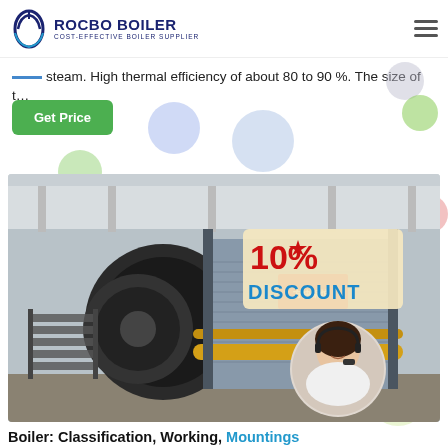ROCBO BOILER — COST-EFFECTIVE BOILER SUPPLIER
steam. High thermal efficiency of about 80 to 90 %. The size of t…
[Figure (illustration): Green 'Get Price' button with decorative coloured circles in background]
[Figure (photo): Industrial boiler in a factory/warehouse setting, with a '10% DISCOUNT' label overlay and a circular inset photo of a smiling woman with headset (customer service representative)]
Boiler: Classification, Working, Mountings